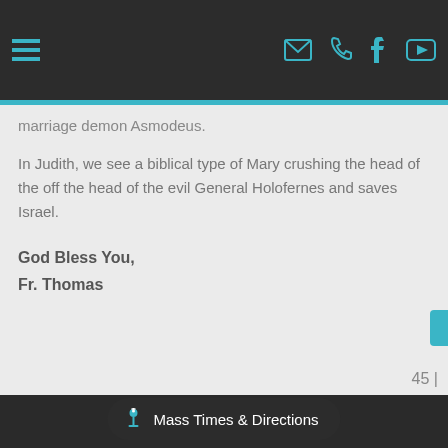Navigation header with hamburger menu and icons for email, phone, facebook, youtube
marriage demon Asmodeus.
In Judith, we see a biblical type of Mary crushing the head of the off the head of the evil General Holofernes and saves Israel.
God Bless You,
Fr. Thomas
45 | Mass Times & Directions